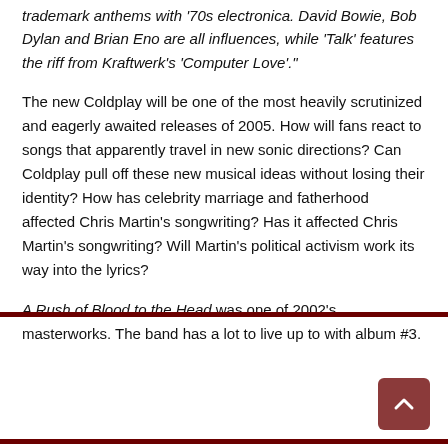trademark anthems with '70s electronica. David Bowie, Bob Dylan and Brian Eno are all influences, while 'Talk' features the riff from Kraftwerk's 'Computer Love'."
The new Coldplay will be one of the most heavily scrutinized and eagerly awaited releases of 2005. How will fans react to songs that apparently travel in new sonic directions? Can Coldplay pull off these new musical ideas without losing their identity? How has celebrity marriage and fatherhood affected Chris Martin's songwriting? Has it affected Chris Martin's songwriting? Will Martin's political activism work its way into the lyrics?
A Rush of Blood to the Head was one of 2002's masterworks. The band has a lot to live up to with album #3.